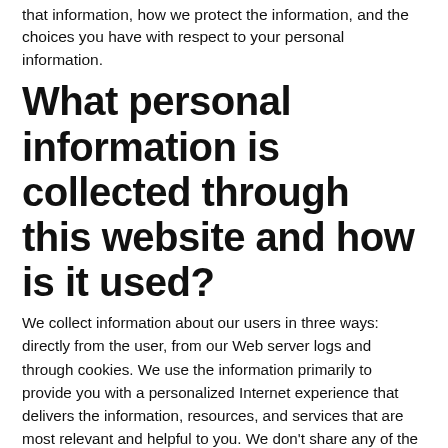that information, how we protect the information, and the choices you have with respect to your personal information.
What personal information is collected through this website and how is it used?
We collect information about our users in three ways: directly from the user, from our Web server logs and through cookies. We use the information primarily to provide you with a personalized Internet experience that delivers the information, resources, and services that are most relevant and helpful to you. We don't share any of the information you provide with others, unless we say so in this Privacy Policy, or when we believe in good faith that the law requires it.